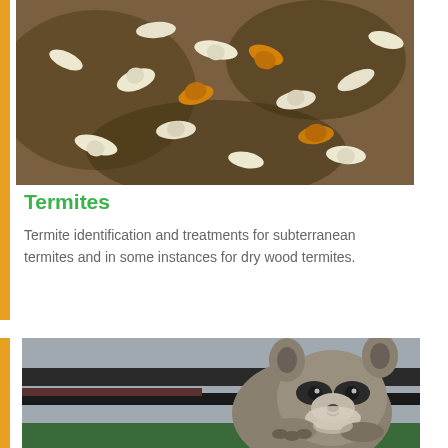[Figure (photo): Close-up photo of termites, showing white worker termites and orange-brown soldier termites on wood/soil material]
Termites
Termite identification and treatments for subterranean termites and in some instances for dry wood termites.
[Figure (photo): Photo of a raccoon peeking over a ledge or fence, looking toward the camera with its distinctive masked face]